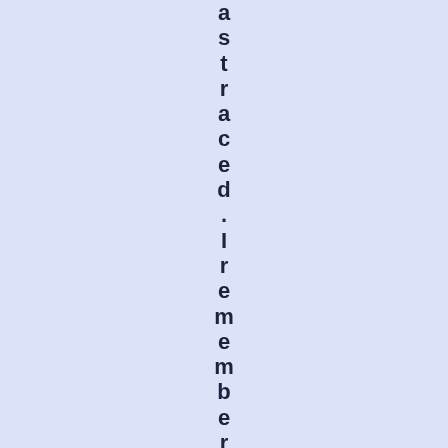astraced.IrememberMaryDowneyand